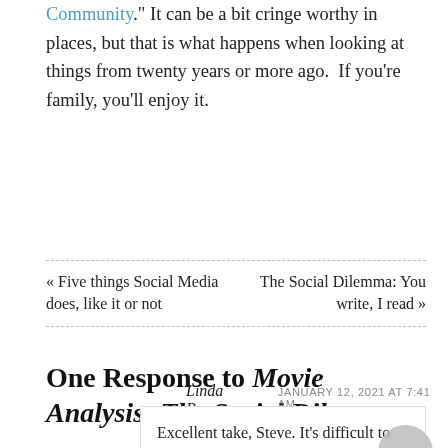Community." It can be a bit cringe worthy in places, but that is what happens when looking at things from twenty years or more ago.  If you're family, you'll enjoy it.
« Five things Social Media does, like it or not
The Social Dilemma: You write, I read »
One Response to Movie Analysis: The Social Dilemma
Linda Brown  JANUARY 12, 2021 AT 7:41 AM
Excellent take, Steve. It's difficult to envision where we go from here, given how few of us understand the forces at play in social media algorithms. Our